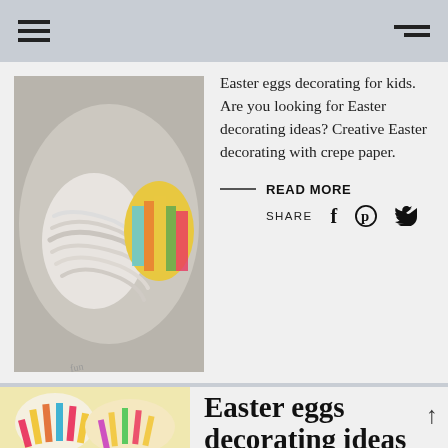Easter eggs decorating for kids. Are you looking for Easter decorating ideas? Creative Easter decorating with crepe paper.
READ MORE
SHARE
[Figure (photo): Wrapped Easter egg with crepe paper, white and colorful yarn/fabric]
Easter eggs decorating ideas for kids
[Figure (photo): Colorful striped Easter eggs decorated with crepe paper in pink, yellow, red tones]